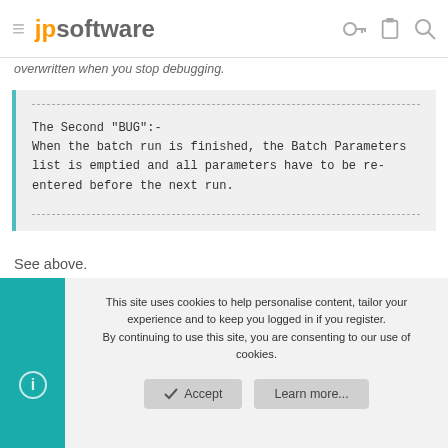jpsoftware
overwritten when you stop debugging.
The Second "BUG":-
When the batch run is finished, the Batch Parameters list is emptied and all parameters have to be re-entered before the next run.
See above.
This site uses cookies to help personalise content, tailor your experience and to keep you logged in if you register.
By continuing to use this site, you are consenting to our use of cookies.